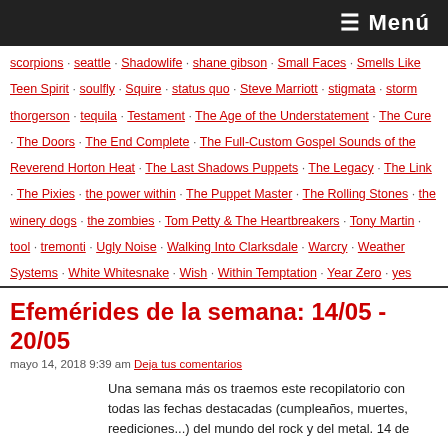≡ Menú
scorpions · seattle · Shadowlife · shane gibson · Small Faces · Smells Like Teen Spirit · soulfly · Squire · status quo · Steve Marriott · stigmata · storm thorgerson · tequila · Testament · The Age of the Understatement · The Cure · The Doors · The End Complete · The Full-Custom Gospel Sounds of the Reverend Horton Heat · The Last Shadows Puppets · The Legacy · The Link · The Pixies · the power within · The Puppet Master · The Rolling Stones · the winery dogs · the zombies · Tom Petty & The Heartbreakers · Tony Martin · tool · tremonti · Ugly Noise · Walking Into Clarksdale · Warcry · Weather Systems · White Whitesnake · Wish · Within Temptation · Year Zero · yes
Efemérides de la semana: 14/05 - 20/05
mayo 14, 2018 9:39 am Deja tus comentarios
Una semana más os traemos este recopilatorio con todas las fechas destacadas (cumpleaños, muertes, reediciones...) del mundo del rock y del metal. 14 de